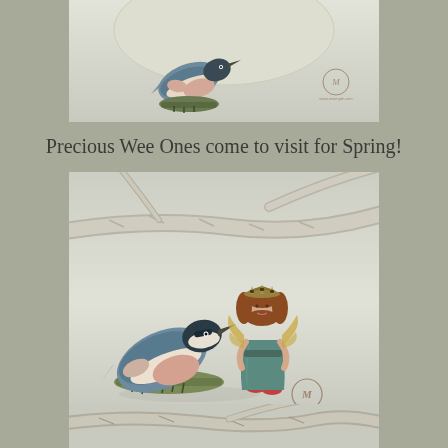[Figure (photo): Top portion of a photo showing a small decorative bird figurine (nuthatch-style, blue-grey and pink) on a green base, with a watermark logo in the bottom-right corner, against a light grey/white background.]
Precious Wee Ones come to visit for Spring!
[Figure (photo): Photo of two small handcrafted figurines: a nuthatch bird (blue-grey with pink breast) on a green mossy base, and a tiny fairy/pixie figure in a teal dress with golden wings and a crown, standing together against a light grey background with birch branches overhead. An artist watermark logo appears in the lower right.]
[Figure (photo): Bottom partial photograph showing birch branches against a light background, cropped at the bottom edge of the page.]